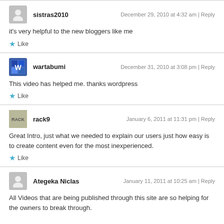sistras2010 — December 29, 2010 at 4:32 am | Reply
it's very helpful to the new bloggers like me
Like
wartabumi — December 31, 2010 at 3:08 pm | Reply
This video has helped me. thanks wordpress
Like
rack9 — January 6, 2011 at 11:31 pm | Reply
Great Intro, just what we needed to explain our users just how easy is to create content even for the most inexperienced.
Like
Ategeka Niclas — January 11, 2011 at 10:25 am | Reply
All Videos that are being published through this site are so helping for the owners to break through.